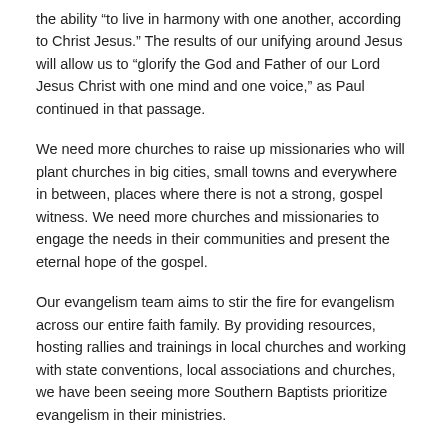the ability “to live in harmony with one another, according to Christ Jesus.” The results of our unifying around Jesus will allow us to “glorify the God and Father of our Lord Jesus Christ with one mind and one voice,” as Paul continued in that passage.
We need more churches to raise up missionaries who will plant churches in big cities, small towns and everywhere in between, places where there is not a strong, gospel witness. We need more churches and missionaries to engage the needs in their communities and present the eternal hope of the gospel.
Our evangelism team aims to stir the fire for evangelism across our entire faith family. By providing resources, hosting rallies and trainings in local churches and working with state conventions, local associations and churches, we have been seeing more Southern Baptists prioritize evangelism in their ministries.